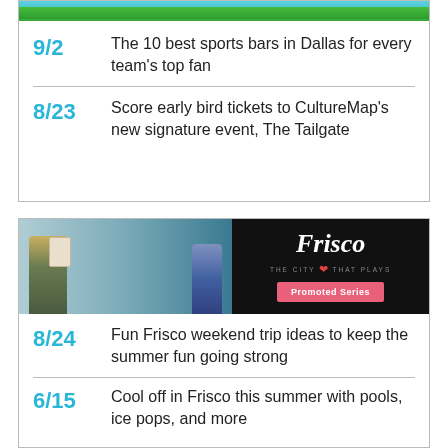[Figure (photo): Grass and sky decorative banner strip at top of card]
9/2 The 10 best sports bars in Dallas for every team's top fan
8/23 Score early bird tickets to CultureMap's new signature event, The Tailgate
[Figure (photo): Frisco - The City That Plays promotional banner ad with two women in a craft/retail store and Frisco logo with 'Promoted Series' button]
8/24 Fun Frisco weekend trip ideas to keep the summer fun going strong
6/15 Cool off in Frisco this summer with pools, ice pops, and more